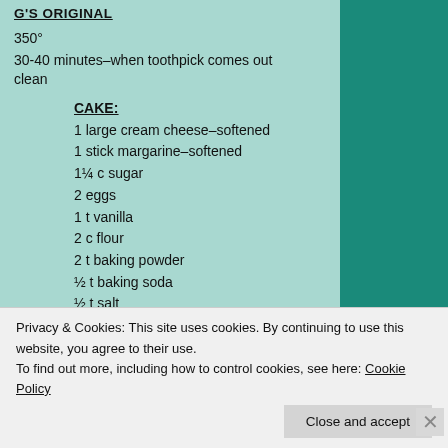G'S ORIGINAL
350°
30-40 minutes–when toothpick comes out clean
CAKE:
1 large cream cheese–softened
1 stick margarine–softened
1¼ c sugar
2 eggs
1 t vanilla
2 c flour
2 t baking powder
½ t baking soda
½ t salt
½ c milk
TOPPING:
Privacy & Cookies: This site uses cookies. By continuing to use this website, you agree to their use. To find out more, including how to control cookies, see here: Cookie Policy